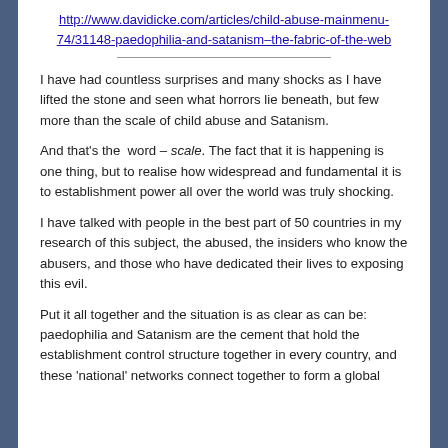http://www.davidicke.com/articles/child-abuse-mainmenu-74/31148-paedophilia-and-satanism–the-fabric-of-the-web
I have had countless surprises and many shocks as I have lifted the stone and seen what horrors lie beneath, but few more than the scale of child abuse and Satanism.
And that's the  word – scale. The fact that it is happening is one thing, but to realise how widespread and fundamental it is to establishment power all over the world was truly shocking.
I have talked with people in the best part of 50 countries in my research of this subject, the abused, the insiders who know the abusers, and those who have dedicated their lives to exposing this evil.
Put it all together and the situation is as clear as can be: paedophilia and Satanism are the cement that hold the establishment control structure together in every country, and these 'national' networks connect together to form a global